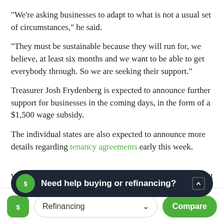"We're asking businesses to adapt to what is not a usual set of circumstances," he said.
"They must be sustainable because they will run for, we believe, at least six months and we want to be able to get everybody through. So we are seeking their support."
Treasurer Josh Frydenberg is expected to announce further support for businesses in the coming days, in the form of a $1,500 wage subsidy.
The individual states are also expected to announce more details regarding tenancy agreements early this week.
While [partially obscured by tooltip] but down,
[Figure (screenshot): Dark rounded tooltip bar showing 'Need help buying or refinancing?' with green dollar-sign icon and chevron]
[Figure (screenshot): Bottom navigation bar with green diamond logo, Refinancing dropdown, and green Compare button]